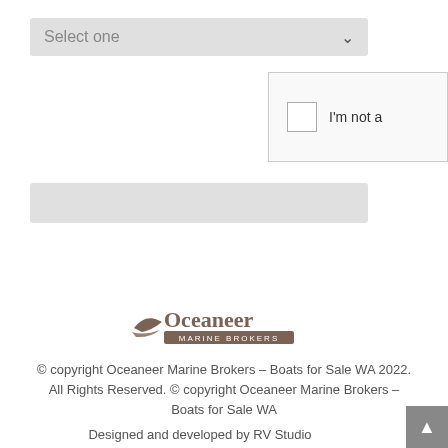[Figure (screenshot): A dropdown select input field with 'Select one' placeholder text and a chevron/arrow on the right, styled with a light gray background.]
[Figure (screenshot): A reCAPTCHA-style widget partially visible on the right side, showing a checkbox and text 'I'm not a...' on a light gray background with border.]
[Figure (screenshot): A light gray input text field, blank, spanning most of the page width.]
[Figure (logo): Oceaneer Marine Brokers logo with stylized wave and boat graphic in brown/taupe tones, with 'Oceaneer' in large text and 'MARINE BROKERS' beneath.]
© copyright Oceaneer Marine Brokers – Boats for Sale WA 2022. All Rights Reserved. © copyright Oceaneer Marine Brokers – Boats for Sale WA
Designed and developed by RV Studio